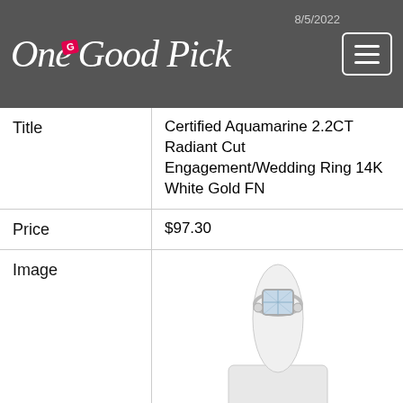OneGoodPick — Posted: 8/5/2022
| Field | Value |
| --- | --- |
| Title | Certified Aquamarine 2.2CT Radiant Cut Engagement/Wedding Ring 14K White Gold FN |
| Price | $97.30 |
| Image | [product photo of ring on white display stand] |
| Source | eBay.com |
| Location | USA |
| Posted | 8/9/2022 |
| Title | Size 6.75 14k White Gold |